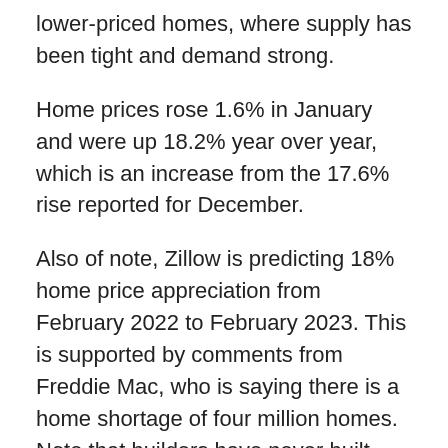lower-priced homes, where supply has been tight and demand strong.
Home prices rose 1.6% in January and were up 18.2% year over year, which is an increase from the 17.6% rise reported for December.
Also of note, Zillow is predicting 18% home price appreciation from February 2022 to February 2023. This is supported by comments from Freddie Mac, who is saying there is a home shortage of four million homes. Note that builders have never built more than two million homes in a year, so the inventory shortage should persist for the foreseeable future.
In addition, Apartment List released its National Rent Report for March, which showed that rents